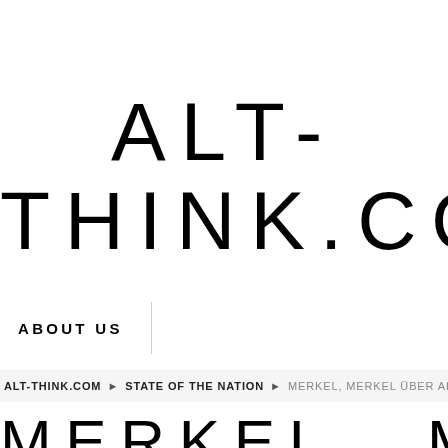ALT-THINK.COM
ABOUT US
ALT-THINK.COM ► STATE OF THE NATION ► MERKEL, MERKEL ÜBER ALL
MERKEL  MER